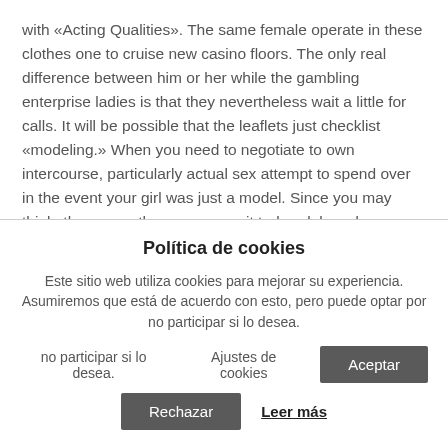with «Acting Qualities». The same female operate in these clothes one to cruise new casino floors. The only real difference between him or her while the gambling enterprise ladies is that they nevertheless wait a little for calls. It will be possible that the leaflets just checklist «modeling.» When you need to negotiate to own intercourse, particularly actual sex attempt to spend over in the event your girl was just a model. Since you may think, there are other anyone on it to-break brand new money. These types of attire bring specific defense against getting robbed. They usually sit about
Política de cookies
Este sitio web utiliza cookies para mejorar su experiencia. Asumiremos que está de acuerdo con esto, pero puede optar por no participar si lo desea.
Ajustes de cookies
Aceptar
Rechazar
Leer más